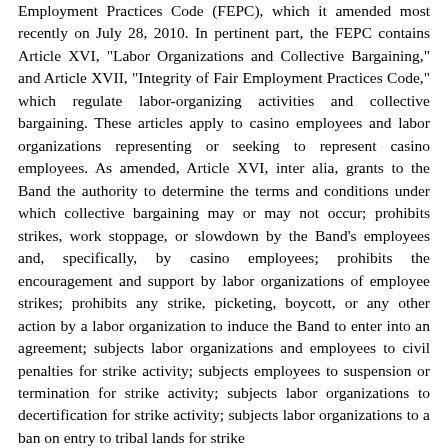Employment Practices Code (FEPC), which it amended most recently on July 28, 2010. In pertinent part, the FEPC contains Article XVI, "Labor Organizations and Collective Bargaining," and Article XVII, "Integrity of Fair Employment Practices Code," which regulate labor-organizing activities and collective bargaining. These articles apply to casino employees and labor organizations representing or seeking to represent casino employees. As amended, Article XVI, inter alia, grants to the Band the authority to determine the terms and conditions under which collective bargaining may or may not occur; prohibits strikes, work stoppage, or slowdown by the Band's employees and, specifically, by casino employees; prohibits the encouragement and support by labor organizations of employee strikes; prohibits any strike, picketing, boycott, or any other action by a labor organization to induce the Band to enter into an agreement; subjects labor organizations and employees to civil penalties for strike activity; subjects employees to suspension or termination for strike activity; subjects labor organizations to decertification for strike activity; subjects labor organizations to a ban on entry to tribal lands for strike